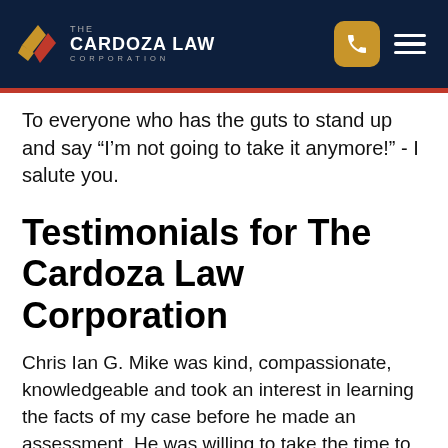THE CARDOZA LAW CORPORATION
To everyone who has the guts to stand up and say “I’m not going to take it anymore!” - I salute you.
Testimonials for The Cardoza Law Corporation
Chris Ian G. Mike was kind, compassionate, knowledgeable and took an interest in learning the facts of my case before he made an assessment. He was willing to take the time to listen with an open mind. It was clear he enjoys helping people